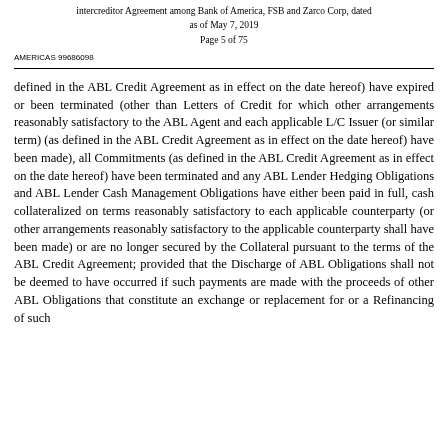Intercreditor Agreement among Bank of America, FSB and Zarco Corp, dated as of May 7, 2019
Page 5 of 75
AMERICAS 99686098
defined in the ABL Credit Agreement as in effect on the date hereof) have expired or been terminated (other than Letters of Credit for which other arrangements reasonably satisfactory to the ABL Agent and each applicable L/C Issuer (or similar term) (as defined in the ABL Credit Agreement as in effect on the date hereof) have been made), all Commitments (as defined in the ABL Credit Agreement as in effect on the date hereof) have been terminated and any ABL Lender Hedging Obligations and ABL Lender Cash Management Obligations have either been paid in full, cash collateralized on terms reasonably satisfactory to each applicable counterparty (or other arrangements reasonably satisfactory to the applicable counterparty shall have been made) or are no longer secured by the Collateral pursuant to the terms of the ABL Credit Agreement; provided that the Discharge of ABL Obligations shall not be deemed to have occurred if such payments are made with the proceeds of other ABL Obligations that constitute an exchange or replacement for or a Refinancing of such